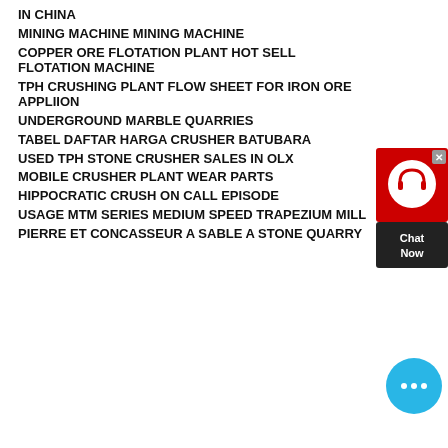IN CHINA
MINING MACHINE MINING MACHINE
COPPER ORE FLOTATION PLANT HOT SELL FLOTATION MACHINE
TPH CRUSHING PLANT FLOW SHEET FOR IRON ORE APPLIION
UNDERGROUND MARBLE QUARRIES
TABEL DAFTAR HARGA CRUSHER BATUBARA
USED TPH STONE CRUSHER SALES IN OLX
MOBILE CRUSHER PLANT WEAR PARTS
HIPPOCRATIC CRUSH ON CALL EPISODE
USAGE MTM SERIES MEDIUM SPEED TRAPEZIUM MILL
PIERRE ET CONCASSEUR A SABLE A STONE QUARRY
[Figure (other): Chat widget with headset icon and Chat Now label, and a blue chat bubble icon]